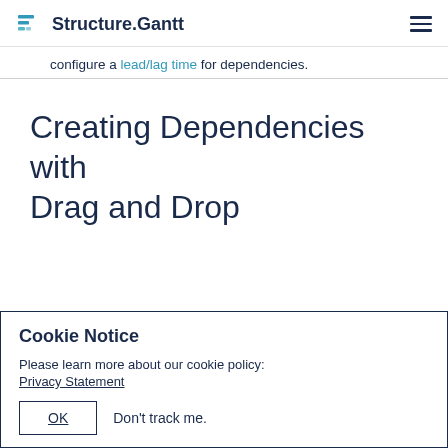Structure.Gantt
configure a lead/lag time for dependencies.
Creating Dependencies with Drag and Drop
Cookie Notice
Please learn more about our cookie policy:
Privacy Statement
OK   Don't track me.